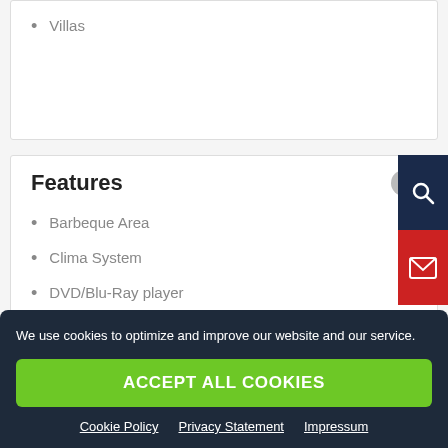Villas
Features
Barbeque Area
Clima System
DVD/Blu-Ray player
Fireplaces
Fitness Room
We use cookies to optimize and improve our website and our service.
ACCEPT ALL COOKIES
Cookie Policy   Privacy Statement   Impressum